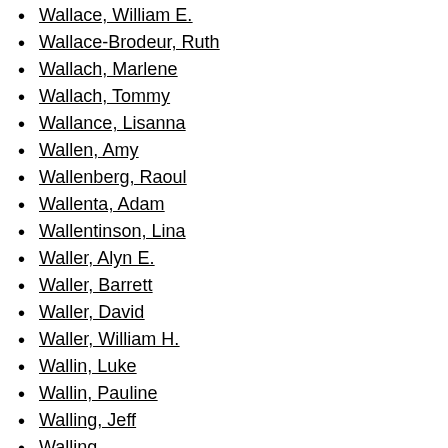Wallace, William E.
Wallace-Brodeur, Ruth
Wallach, Marlene
Wallach, Tommy
Wallance, Lisanna
Wallen, Amy
Wallenberg, Raoul
Wallenta, Adam
Wallentinson, Lina
Waller, Alyn E.
Waller, Barrett
Waller, David
Waller, William H.
Wallin, Luke
Wallin, Pauline
Walling, Jeff
Walling, [partial]